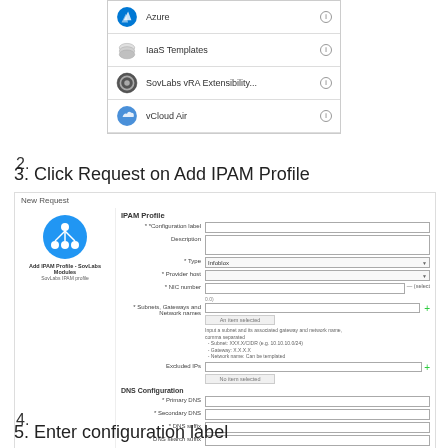[Figure (screenshot): UI menu showing Azure, IaaS Templates, SovLabs vRA Extensibility, and vCloud Air menu items with icons]
2.
3. Click Request on Add IPAM Profile
[Figure (screenshot): New Request dialog showing Add IPAM Profile form with fields: Configuration label, Description, Type (Infoblox), Provider host, NIC number, Subnets/Gateways and Network names, Excluded IPs, DNS Configuration with Primary DNS, Secondary DNS, DNS suffix, DNS search suffix]
4.
5. Enter configuration label